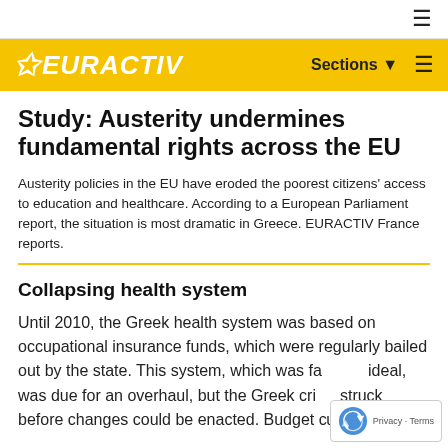≡ (hamburger menu icon)
EURACTIV — Sections ▾ ≡
Study: Austerity undermines fundamental rights across the EU
Austerity policies in the EU have eroded the poorest citizens' access to education and healthcare. According to a European Parliament report, the situation is most dramatic in Greece. EURACTIV France reports.
Collapsing health system
Until 2010, the Greek health system was based on occupational insurance funds, which were regularly bailed out by the state. This system, which was far from ideal, was due for an overhaul, but the Greek crisis struck before changes could be enacted. Budget cuts